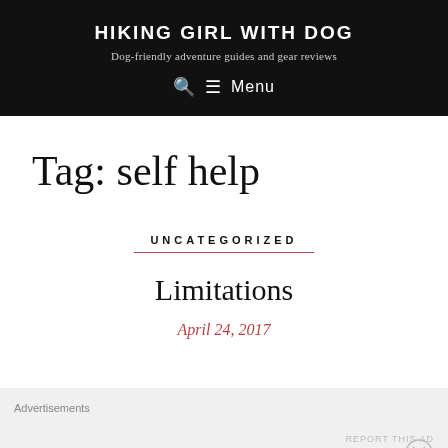HIKING GIRL WITH DOG
Dog-friendly adventure guides and gear reviews
Tag: self help
UNCATEGORIZED
Limitations
April 24, 2017
Advertisements